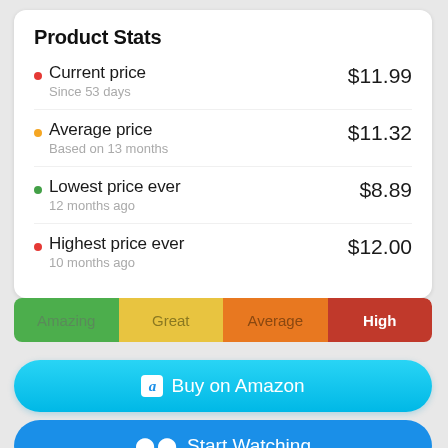Product Stats
Current price — $11.99 — Since 53 days
Average price — $11.32 — Based on 13 months
Lowest price ever — $8.89 — 12 months ago
Highest price ever — $12.00 — 10 months ago
[Figure (infographic): Rating bar showing four segments: Amazing (green), Great (yellow), Average (orange), High (red, selected with downward arrow indicator)]
Buy on Amazon
Start Watching